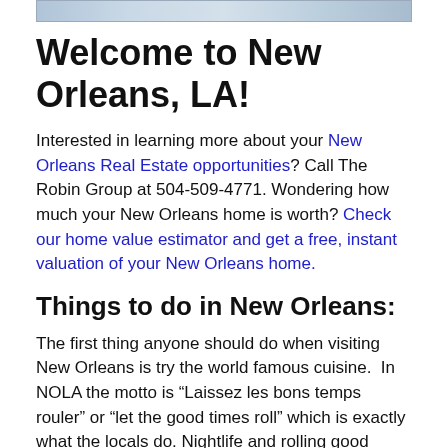[Figure (photo): Partial photo strip at top of page, showing a street or cityscape scene in New Orleans]
Welcome to New Orleans, LA!
Interested in learning more about your New Orleans Real Estate opportunities? Call The Robin Group at 504-509-4771. Wondering how much your New Orleans home is worth? Check our home value estimator and get a free, instant valuation of your New Orleans home.
Things to do in New Orleans:
The first thing anyone should do when visiting New Orleans is try the world famous cuisine.  In NOLA the motto is “Laissez les bons temps rouler” or “let the good times roll” which is exactly what the locals do. Nightlife and rolling good times are the main attractions in any corner of New Orleans, with Bourbon Street’s plentiful live-music